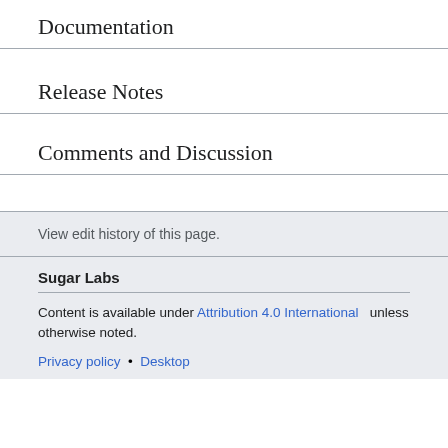Documentation
Release Notes
Comments and Discussion
View edit history of this page.
Sugar Labs
Content is available under Attribution 4.0 International unless otherwise noted.
Privacy policy • Desktop